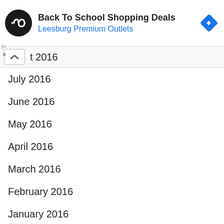[Figure (screenshot): Ad banner for Back To School Shopping Deals at Leesburg Premium Outlets, with circular logo on left and blue diamond navigation icon on right]
t 2016
July 2016
June 2016
May 2016
April 2016
March 2016
February 2016
January 2016
December 2015
November 2015
October 2015
September 2015